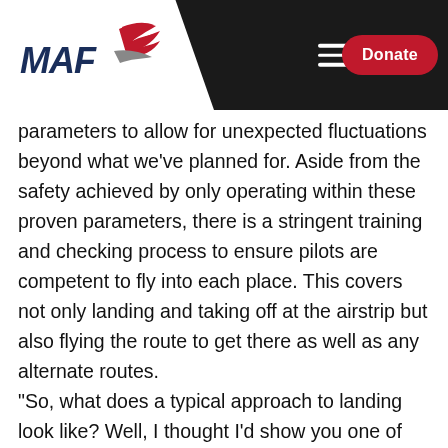[Figure (logo): MAF (Mission Aviation Fellowship) logo with stylized bird/aircraft swoosh in red and grey, text 'MAF' in bold dark blue italic]
MAF website navigation header with logo, hamburger menu, and Donate button
parameters to allow for unexpected fluctuations beyond what we've planned for. Aside from the safety achieved by only operating within these proven parameters, there is a stringent training and checking process to ensure pilots are competent to fly into each place. This covers not only landing and taking off at the airstrip but also flying the route to get there as well as any alternate routes.
“So, what does a typical approach to landing look like? Well, I thought I’d show you one of my favourite examples.The red line shows the approximate flight path of the aircraft on approach to land. The blue line shows the missed approach path in the event we need to abort the approach. The dotted line indicates